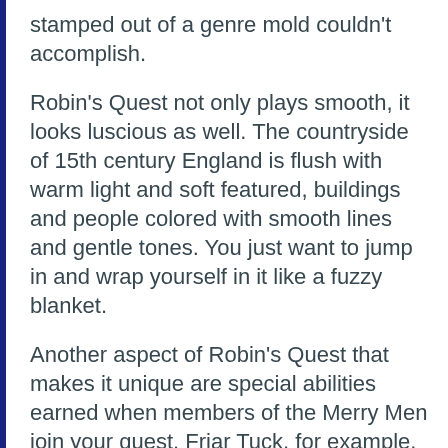stamped out of a genre mold couldn't accomplish.
Robin's Quest not only plays smooth, it looks luscious as well. The countryside of 15th century England is flush with warm light and soft featured, buildings and people colored with smooth lines and gentle tones. You just want to jump in and wrap yourself in it like a fuzzy blanket.
Another aspect of Robin's Quest that makes it unique are special abilities earned when members of the Merry Men join your quest. Friar Tuck, for example, is tops at negotiation and can talk otherwise uncooperative non-player characters into helping you out. When you can use a special ability, a small menu will appear on the screen, allowing you to choose which skill to unleash. And yes, Robin's bow and arrow prowess is a special ability!